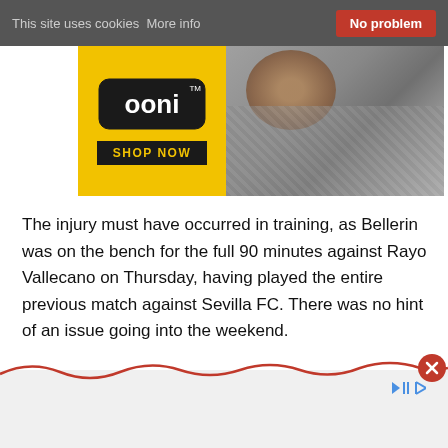This site uses cookies More info   No problem
[Figure (illustration): Ooni pizza oven advertisement banner with yellow background, Ooni logo, SHOP NOW button, and pizza image on right]
The injury must have occurred in training, as Bellerin was on the bench for the full 90 minutes against Rayo Vallecano on Thursday, having played the entire previous match against Sevilla FC. There was no hint of an issue going into the weekend.
Bellerin has had a busy enough season so far, hitting 26 appearances in all competitions.
[Figure (other): Bottom advertisement with red squiggly line, close button (X), and playback controls]